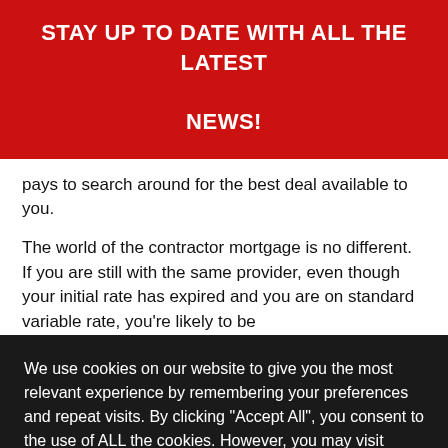STAY UP TO DATE WITH ALL THE LATEST NEWS!
pays to search around for the best deal available to you.
The world of the contractor mortgage is no different. If you are still with the same provider, even though your initial rate has expired and you are on standard variable rate, you're likely to be
We use cookies on our website to give you the most relevant experience by remembering your preferences and repeat visits. By clicking "Accept All", you consent to the use of ALL the cookies. However, you may visit "Cookie Settings" to provide a controlled consent.
COOKIE SETTINGS
ACCEPT ALL